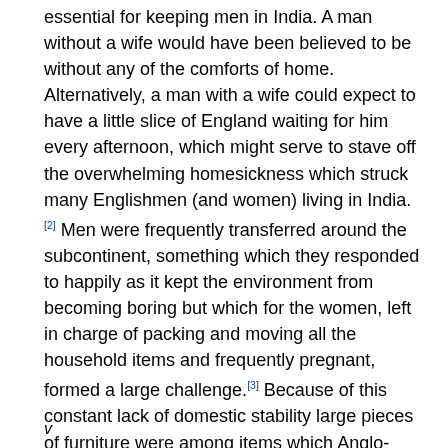essential for keeping men in India. A man without a wife would have been believed to be without any of the comforts of home. Alternatively, a man with a wife could expect to have a little slice of England waiting for him every afternoon, which might serve to stave off the overwhelming homesickness which struck many Englishmen (and women) living in India. [2] Men were frequently transferred around the subcontinent, something which they responded to happily as it kept the environment from becoming boring but which for the women, left in charge of packing and moving all the household items and frequently pregnant, formed a large challenge.[3] Because of this constant lack of domestic stability large pieces of furniture were among items which Anglo-Indian housekeeping books recommended be
v